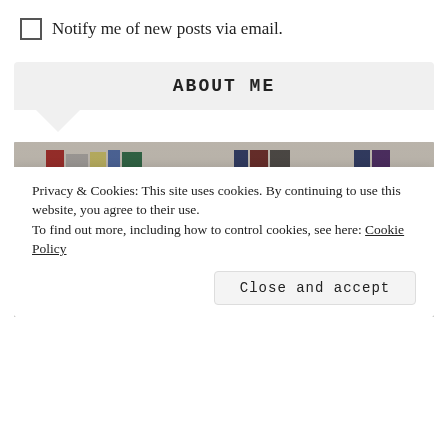Notify me of new posts via email.
ABOUT ME
[Figure (photo): Photo of a woman with red/auburn hair and glasses, standing in front of a bookshelf. A cookie consent banner overlays the bottom portion of the image.]
Privacy & Cookies: This site uses cookies. By continuing to use this website, you agree to their use.
To find out more, including how to control cookies, see here: Cookie Policy
Close and accept